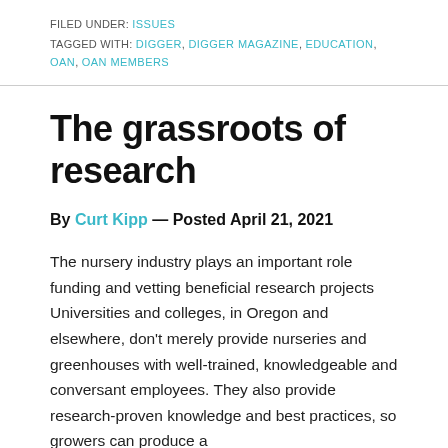FILED UNDER: ISSUES
TAGGED WITH: DIGGER, DIGGER MAGAZINE, EDUCATION, OAN, OAN MEMBERS
The grassroots of research
By Curt Kipp — Posted April 21, 2021
The nursery industry plays an important role funding and vetting beneficial research projects Universities and colleges, in Oregon and elsewhere, don't merely provide nurseries and greenhouses with well-trained, knowledgeable and conversant employees. They also provide research-proven knowledge and best practices, so growers can produce a